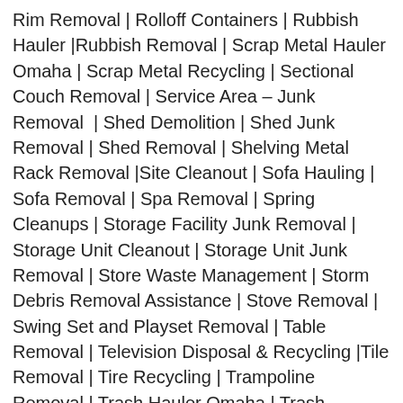Rim Removal | Rolloff Containers | Rubbish Hauler |Rubbish Removal | Scrap Metal Hauler Omaha | Scrap Metal Recycling | Sectional Couch Removal | Service Area – Junk Removal  | Shed Demolition | Shed Junk Removal | Shed Removal | Shelving Metal Rack Removal |Site Cleanout | Sofa Hauling | Sofa Removal | Spa Removal | Spring Cleanups | Storage Facility Junk Removal | Storage Unit Cleanout | Storage Unit Junk Removal | Store Waste Management | Storm Debris Removal Assistance | Stove Removal | Swing Set and Playset Removal | Table Removal | Television Disposal & Recycling |Tile Removal | Tire Recycling | Trampoline Removal | Trash Hauler Omaha | Trash Management | Trash out Service |Trash Removal | Trash Removal Alternative | Treadmill Removal | Tree Removal |Tube Tv Removal | Tv Hauler Omaha | Tv Recycle Omaha |Tv Recycle Omaha |Tv Removal |Tv Recycling Omaha |Tv...